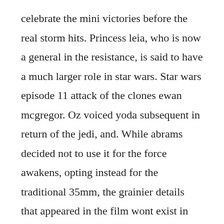celebrate the mini victories before the real storm hits. Princess leia, who is now a general in the resistance, is said to have a much larger role in star wars. Star wars episode 11 attack of the clones ewan mcgregor. Oz voiced yoda subsequent in return of the jedi, and. While abrams decided not to use it for the force awakens, opting instead for the traditional 35mm, the grainier details that appeared in the film wont exist in episode 9. Between working on jurassic world 2 with director j.
According to the movies imdb page, the film